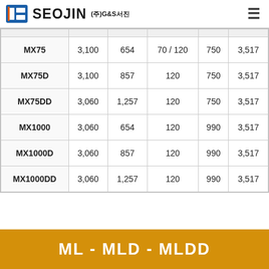SEOJIN (주)G&S서진
|  |  |  |  |  |  |
| --- | --- | --- | --- | --- | --- |
| MX75 | 3,100 | 654 | 70 / 120 | 750 | 3,517 |
| MX75D | 3,100 | 857 | 120 | 750 | 3,517 |
| MX75DD | 3,060 | 1,257 | 120 | 750 | 3,517 |
| MX1000 | 3,060 | 654 | 120 | 990 | 3,517 |
| MX1000D | 3,060 | 857 | 120 | 990 | 3,517 |
| MX1000DD | 3,060 | 1,257 | 120 | 990 | 3,517 |
ML - MLD - MLDD